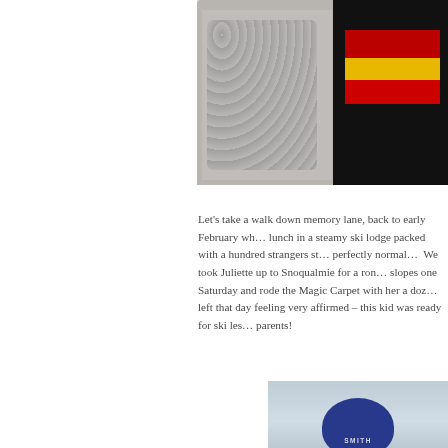[Figure (photo): Child holding a black, red, yellow German soccer/football scarf (DFB), wrapped in a gray heart-patterned blanket, indoors]
Let's take a walk down memory lane, back to early February wh… lunch in a steamy ski lodge packed with a hundred strangers st… perfectly normal…  We took Juliette up to Snoqualmie for a ron… slopes one Saturday and rode the Magic Carpet with her a doz… left that day feeling very affirmed – this kid was ready for ski les… parents!
[Figure (photo): Child wearing a dark navy blue Smith ski helmet, on snow/ice surface]